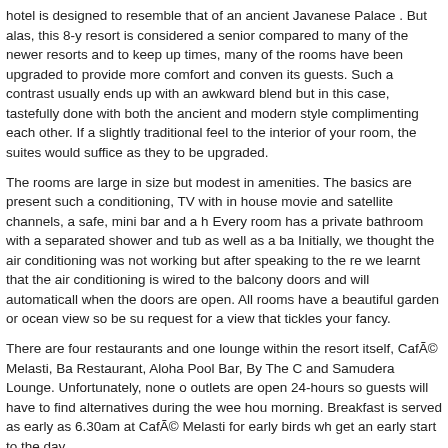hotel is designed to resemble that of an ancient Javanese Palace . But alas, this 8-y resort is considered a senior compared to many of the newer resorts and to keep up times, many of the rooms have been upgraded to provide more comfort and conven its guests. Such a contrast usually ends up with an awkward blend but in this case, tastefully done with both the ancient and modern style complimenting each other. If a slightly traditional feel to the interior of your room, the suites would suffice as they to be upgraded.
The rooms are large in size but modest in amenities. The basics are present such a conditioning, TV with in house movie and satellite channels, a safe, mini bar and a h Every room has a private bathroom with a separated shower and tub as well as a ba Initially, we thought the air conditioning was not working but after speaking to the re we learnt that the air conditioning is wired to the balcony doors and will automaticall when the doors are open. All rooms have a beautiful garden or ocean view so be su request for a view that tickles your fancy.
There are four restaurants and one lounge within the resort itself, Café Melasti, Ba Restaurant, Aloha Pool Bar, By The C and Samudera Lounge. Unfortunately, none o outlets are open 24-hours so guests will have to find alternatives during the wee hou morning. Breakfast is served as early as 6.30am at Café Melasti for early birds wh get an early start to the day.
Being situated away from all the hustle and bustle of the entertainment and shoppin Aston to organize many different activities for its guests to participate in. Many wate activities are available at the beach front while aqua aerobics sessions are conducte